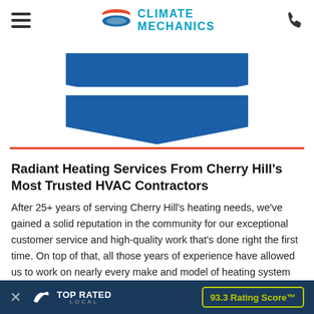[Figure (logo): Climate Mechanics logo with hamburger menu on left and phone icon on right]
[Figure (illustration): Large blue chevron/arrow pointing downward, two stacked chevron shapes in dark blue]
Radiant Heating Services From Cherry Hill's Most Trusted HVAC Contractors
After 25+ years of serving Cherry Hill's heating needs, we've gained a solid reputation in the community for our exceptional customer service and high-quality work that's done right the first time. On top of that, all those years of experience have allowed us to work on nearly every make and model of heating system under the sun. When you ca... we'll never be sur...
[Figure (infographic): Top Rated Local banner overlay at bottom showing X close button, Top Rated Local logo with bird, and 93.3 Rating Score badge]